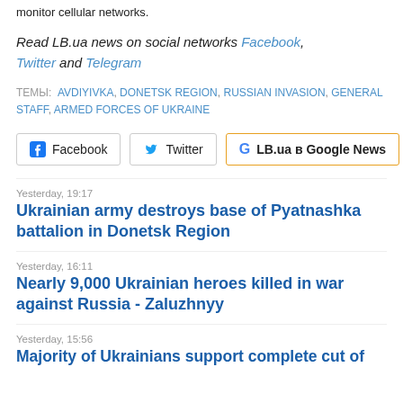monitor cellular networks.
Read LB.ua news on social networks Facebook, Twitter and Telegram
ТЕМЫ: AVDIYIVKA, DONETSK REGION, RUSSIAN INVASION, GENERAL STAFF, ARMED FORCES OF UKRAINE
[Figure (other): Social share buttons: Facebook, Twitter, LB.ua в Google News]
Yesterday, 19:17
Ukrainian army destroys base of Pyatnashka battalion in Donetsk Region
Yesterday, 16:11
Nearly 9,000 Ukrainian heroes killed in war against Russia - Zaluzhnyy
Yesterday, 15:56
Majority of Ukrainians support complete cut of